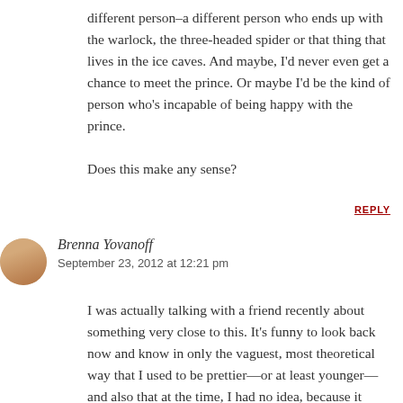different person–a different person who ends up with the warlock, the three-headed spider or that thing that lives in the ice caves. And maybe, I'd never even get a chance to meet the prince. Or maybe I'd be the kind of person who's incapable of being happy with the prince.

Does this make any sense?
REPLY
Brenna Yovanoff
September 23, 2012 at 12:21 pm
I was actually talking with a friend recently about something very close to this. It's funny to look back now and know in only the vaguest, most theoretical way that I used to be prettier—or at least younger—and also that at the time, I had no idea, because it somehow didn't seem like enough. I'm really happy with how I look now, even